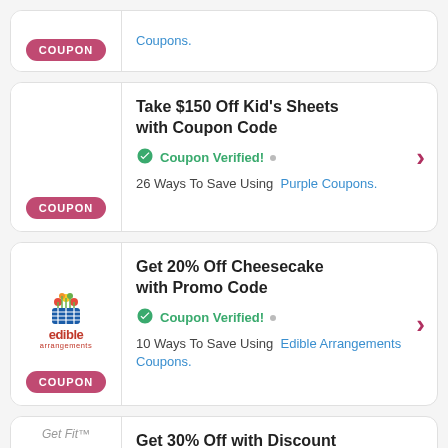COUPON | Coupons.
Take $150 Off Kid's Sheets with Coupon Code | Coupon Verified! | 26 Ways To Save Using Purple Coupons.
Get 20% Off Cheesecake with Promo Code | Coupon Verified! | 10 Ways To Save Using Edible Arrangements Coupons.
Get 30% Off with Discount Code